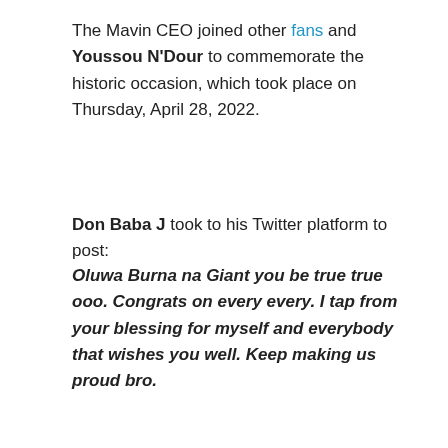The Mavin CEO joined other fans and Youssou N'Dour to commemorate the historic occasion, which took place on Thursday, April 28, 2022.
Don Baba J took to his Twitter platform to post:
Oluwa Burna na Giant you be true true ooo. Congrats on every every. I tap from your blessing for myself and everybody that wishes you well. Keep making us proud bro.
[Figure (screenshot): Twitter/X embed card showing the quote: Oluwa Burna na Giant you be true true ooo. Congrats on every every. I tap from your blessing for myself and everybody that wishes you well. Keep making us proud bro. The card has an X logo on the left and a large quotation mark icon on the right, with the tweet text below in a white bordered box.]